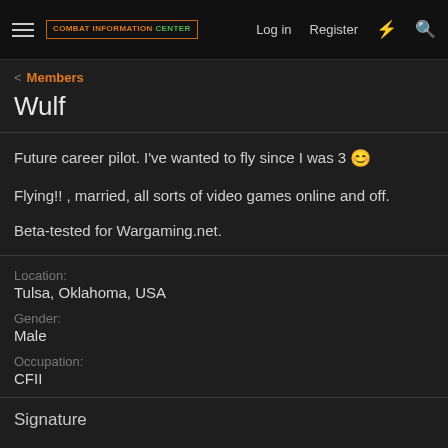Combat Information Center — Log in  Register
< Members
Wulf
Future career pilot. I've wanted to fly since I was 3 😊
Flying!! , married, all sorts of video games online and off.
Beta-tested for Wargaming.net.
Location:
Tulsa, Oklahoma, USA
Gender:
Male
Occupation:
CFII
Signature